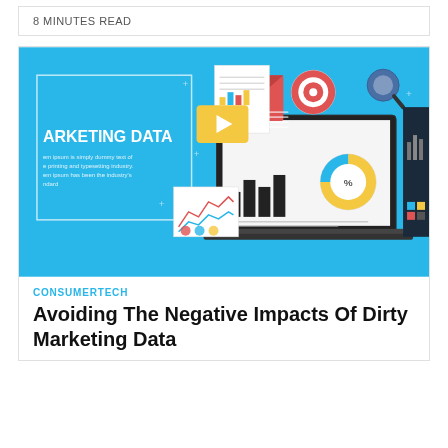8 MINUTES READ
[Figure (illustration): Marketing data infographic illustration on a bright blue background featuring a laptop displaying charts and graphs, an envelope with a bar chart, a target/bullseye icon, a magnifying glass, a video play button, and a panel with the text 'ARKETING DATA' and lorem ipsum text.]
CONSUMERTECH
Avoiding The Negative Impacts Of Dirty Marketing Data